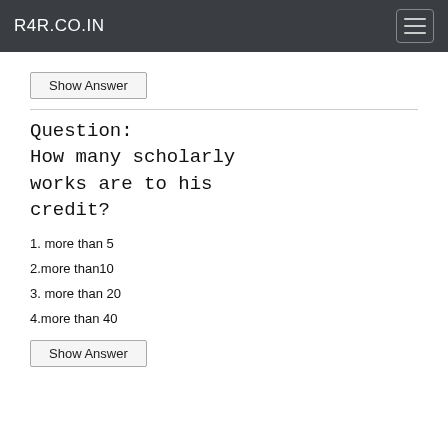R4R.CO.IN
Show Answer
Question: How many scholarly works are to his credit?
1. more than 5
2.more than10
3. more than 20
4.more than 40
Show Answer